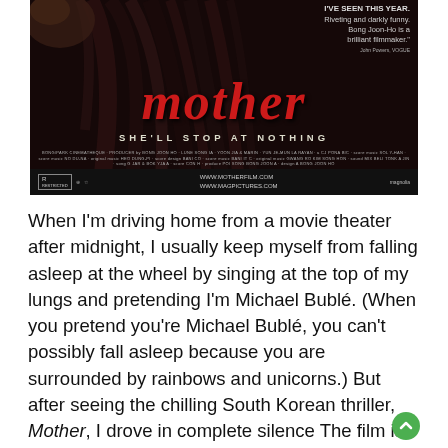[Figure (photo): Movie poster for 'Mother' (Bong Joon-Ho), showing a woman with dark hair, large red serif title 'mother', tagline 'SHE'LL STOP AT NOTHING', with a quote 'IVE SEEN THIS YEAR. Riveting and darkly funny. Bong Joon-Ho is a brilliant filmmaker.' attributed to John Powers, VOGUE. Bottom bar shows rating R, websites www.motherfilm.com and www.magpictures.com, and Magnolia Pictures logo.]
When I'm driving home from a movie theater after midnight, I usually keep myself from falling asleep at the wheel by singing at the top of my lungs and pretending I'm Michael Bublé. (When you pretend you're Michael Bublé, you can't possibly fall asleep because you are surrounded by rainbows and unicorns.) But after seeing the chilling South Korean thriller, Mother, I drove in complete silence The film is deeply felt, thought-provoking, and that...